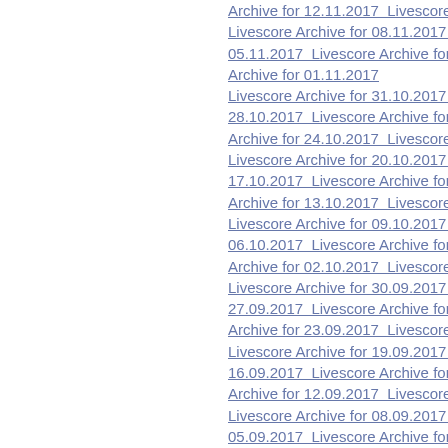Archive for 12.11.2017  Livescore Archive fo  Livescore Archive for 08.11.2017  Livescore 05.11.2017  Livescore Archive for 04.11.201 Archive for 01.11.2017  Livescore Archive for 31.10.2017  Livescore 28.10.2017  Livescore Archive for 27.10.201 Archive for 24.10.2017  Livescore Archive fo Livescore Archive for 20.10.2017  Livescore 17.10.2017  Livescore Archive for 16.10.201 Archive for 13.10.2017  Livescore Archive fo Livescore Archive for 09.10.2017  Livescore 06.10.2017  Livescore Archive for 05.10.201 Archive for 02.10.2017  Livescore Archive for Livescore Archive for 30.09.2017  Livescore 27.09.2017  Livescore Archive for 26.09.201 Archive for 23.09.2017  Livescore Archive fo Livescore Archive for 19.09.2017  Livescore 16.09.2017  Livescore Archive for 15.09.201 Archive for 12.09.2017  Livescore Archive fo Livescore Archive for 08.09.2017  Livescore 05.09.2017  Livescore Archive for 04.09.201 Archive for 01.09.2017  Livescore Archive for 31.08.2017  Livescore 28.08.2017  Livescore Archive for 27.08.201 Archive for 24.08.2017  Livescore Archive fo Livescore Archive for 20.08.2017  Livescore